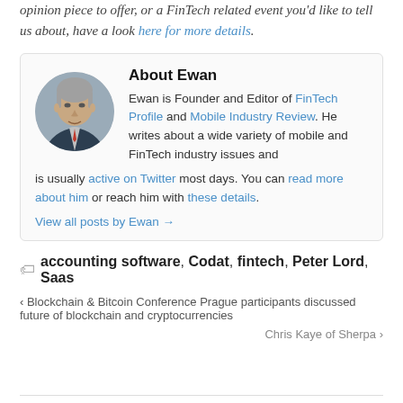opinion piece to offer, or a FinTech related event you'd like to tell us about, have a look here for more details.
About Ewan
Ewan is Founder and Editor of FinTech Profile and Mobile Industry Review. He writes about a wide variety of mobile and FinTech industry issues and is usually active on Twitter most days. You can read more about him or reach him with these details.
View all posts by Ewan →
accounting software, Codat, fintech, Peter Lord, Saas
< Blockchain & Bitcoin Conference Prague participants discussed future of blockchain and cryptocurrencies
Chris Kaye of Sherpa >